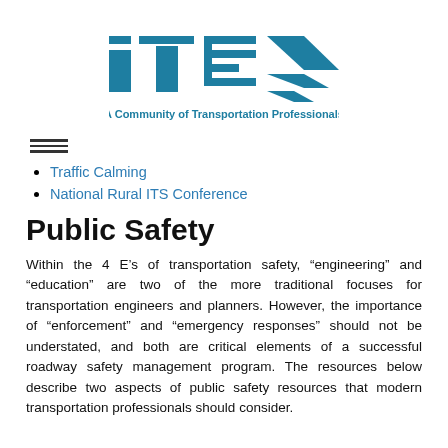[Figure (logo): ITE logo — stylized letters 'ite' with a chevron/arrow shape, in teal/blue color, with tagline 'A Community of Transportation Professionals']
[Figure (other): Hamburger menu icon — three horizontal lines]
Traffic Calming
National Rural ITS Conference
Public Safety
Within the 4 E’s of transportation safety, “engineering” and “education” are two of the more traditional focuses for transportation engineers and planners. However, the importance of “enforcement” and “emergency responses” should not be understated, and both are critical elements of a successful roadway safety management program. The resources below describe two aspects of public safety resources that modern transportation professionals should consider.